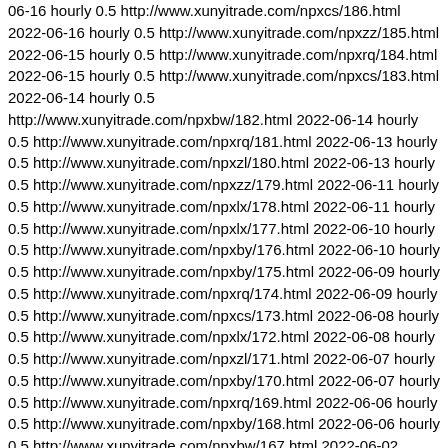06-16 hourly 0.5 http://www.xunyitrade.com/npxcs/186.html 2022-06-16 hourly 0.5 http://www.xunyitrade.com/npxzz/185.html 2022-06-15 hourly 0.5 http://www.xunyitrade.com/npxrq/184.html 2022-06-15 hourly 0.5 http://www.xunyitrade.com/npxcs/183.html 2022-06-14 hourly 0.5 http://www.xunyitrade.com/npxbw/182.html 2022-06-14 hourly 0.5 http://www.xunyitrade.com/npxrq/181.html 2022-06-13 hourly 0.5 http://www.xunyitrade.com/npxzl/180.html 2022-06-13 hourly 0.5 http://www.xunyitrade.com/npxzz/179.html 2022-06-11 hourly 0.5 http://www.xunyitrade.com/npxlx/178.html 2022-06-11 hourly 0.5 http://www.xunyitrade.com/npxlx/177.html 2022-06-10 hourly 0.5 http://www.xunyitrade.com/npxby/176.html 2022-06-10 hourly 0.5 http://www.xunyitrade.com/npxby/175.html 2022-06-09 hourly 0.5 http://www.xunyitrade.com/npxrq/174.html 2022-06-09 hourly 0.5 http://www.xunyitrade.com/npxcs/173.html 2022-06-08 hourly 0.5 http://www.xunyitrade.com/npxlx/172.html 2022-06-08 hourly 0.5 http://www.xunyitrade.com/npxzl/171.html 2022-06-07 hourly 0.5 http://www.xunyitrade.com/npxby/170.html 2022-06-07 hourly 0.5 http://www.xunyitrade.com/npxrq/169.html 2022-06-06 hourly 0.5 http://www.xunyitrade.com/npxby/168.html 2022-06-06 hourly 0.5 http://www.xunyitrade.com/npxbw/167.html 2022-06-02 hourly 0.5 http://www.xunyitrade.com/npxcs/166.html 2022-06-02 hourly 0.5 http://www.xunyitrade.com/npxlx/165.html 2022-06-01 hourly 0.5 http://www.xunyitrade.com/npxby/164.html 2022-06-01 hourly 0.5 http://www.xunyitrade.com/npxlx/163.html 2022-05-31